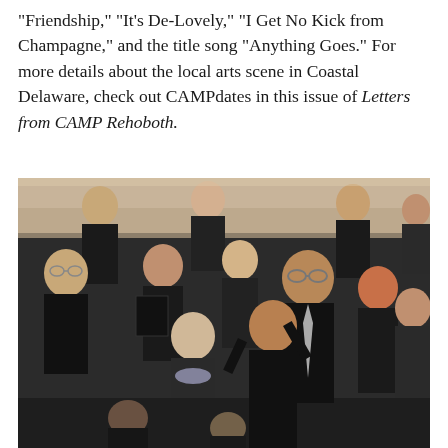“Friendship,” “It’s De-Lovely,” “I Get No Kick from Champagne,” and the title song “Anything Goes.” For more details about the local arts scene in Coastal Delaware, check out CAMPdates in this issue of Letters from CAMP Rehoboth.
[Figure (photo): A group photo of a choir or choral ensemble performing on stage. The performers are dressed in black attire with grey/silver ties or scarves. They are arranged in multiple rows and appear to be mid-performance. The background shows a beige/tan curtain. Several performers are holding black folders/binders with sheet music.]